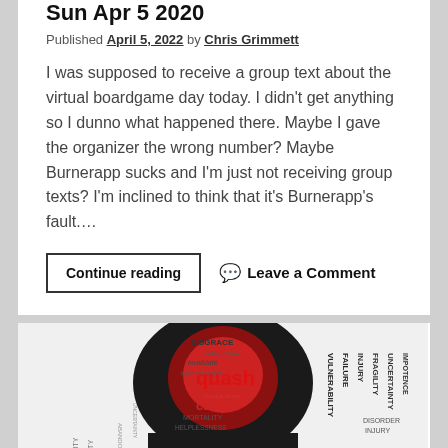Sun Apr 5 2020
Published April 5, 2022 by Chris Grimmett
I was supposed to receive a group text about the virtual boardgame day today. I didn't get anything so I dunno what happened there. Maybe I gave the organizer the wrong number? Maybe Burnerapp sucks and I'm just not receiving group texts? I'm inclined to think that it's Burnerapp's fault....
Continue reading
💬 Leave a Comment
[Figure (illustration): A word cloud shaped like a person's silhouette/bust, featuring words related to negative emotions and vulnerabilities such as 'quash', 'cancel', 'EXPOSURE', 'INFIRMITY', 'VULNERABILITY', 'FAILURE', 'INJURY', 'FRAGILITY', 'DISGRACE', 'IGNORANCE', 'MORTALITY', 'HELPLESSNESS', 'DISORDER', 'IMPOTENCE' in black, red, and dark red text on a black and white background.]